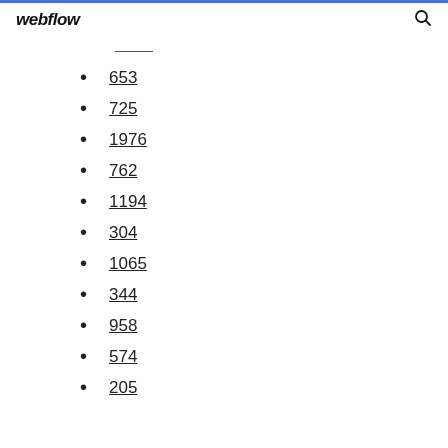webflow
653
725
1976
762
1194
304
1065
344
958
574
205